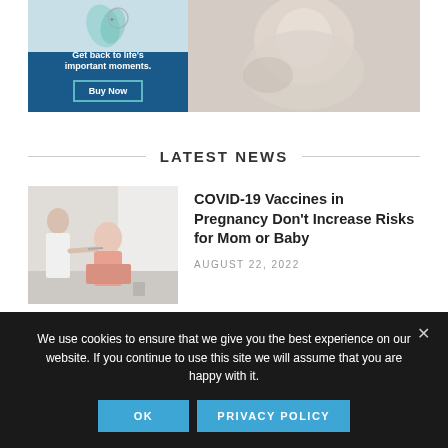[Figure (illustration): Advertisement banner with blue background on left side showing product imagery and text 'Get back to life's important moments.' with a 'Buy Now' button, and a photo of an adult holding a baby on the right side.]
LATEST NEWS
[Figure (photo): Photo of a pregnant woman receiving a vaccine injection from a healthcare provider in a medical setting near a window.]
COVID-19 Vaccines in Pregnancy Don't Increase Risks for Mom or Baby
AUGUST 22, 2022
We use cookies to ensure that we give you the best experience on our website. If you continue to use this site we will assume that you are happy with it.